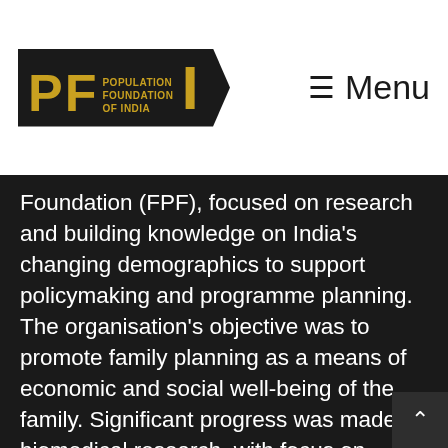Population Foundation of India — Menu navigation header
Foundation (FPF), focused on research and building knowledge on India's changing demographics to support policymaking and programme planning. The organisation's objective was to promote family planning as a means of economic and social well-being of the family. Significant progress was made in biomedical research, with focus on contraception for women, and also men.
FPF used communication such as publications, seminars and films to engage with and inform policy makers and political leaders. In 1978, FPF produced a National